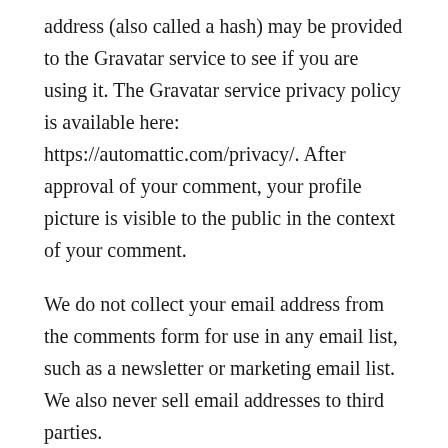address (also called a hash) may be provided to the Gravatar service to see if you are using it. The Gravatar service privacy policy is available here: https://automattic.com/privacy/. After approval of your comment, your profile picture is visible to the public in the context of your comment.
We do not collect your email address from the comments form for use in any email list, such as a newsletter or marketing email list.  We also never sell email addresses to third parties.
Media
In general, users are not able to upload images or other media files to this website.  However, if you do